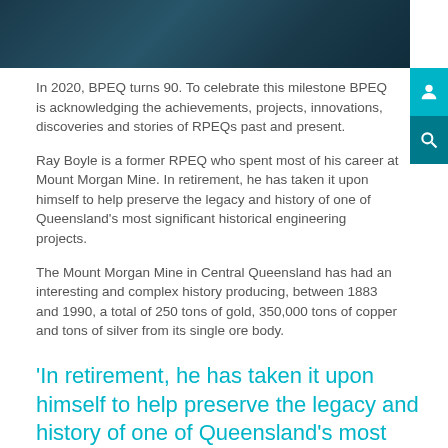[Figure (photo): Dark teal/navy header image showing building structure]
In 2020, BPEQ turns 90. To celebrate this milestone BPEQ is acknowledging the achievements, projects, innovations, discoveries and stories of RPEQs past and present.
Ray Boyle is a former RPEQ who spent most of his career at Mount Morgan Mine. In retirement, he has taken it upon himself to help preserve the legacy and history of one of Queensland's most significant historical engineering projects.
The Mount Morgan Mine in Central Queensland has had an interesting and complex history producing, between 1883 and 1990, a total of 250 tons of gold, 350,000 tons of copper and tons of silver from its single ore body.
‘In retirement, he has taken it upon himself to help preserve the legacy and history of one of Queensland’s most